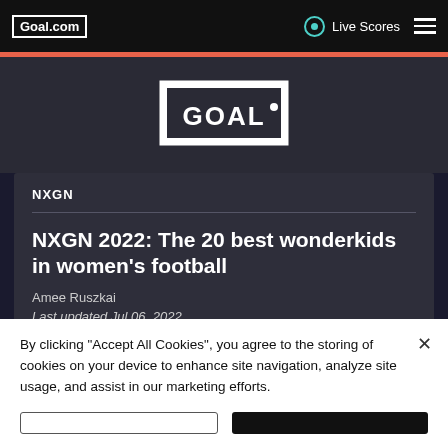Goal.com
Live Scores
[Figure (logo): Goal.com wordmark logo in white on dark background, with rectangular bracket frame]
NXGN
NXGN 2022: The 20 best wonderkids in women's football
Amee Ruszkai
Last updated Jul 06, 2022
By clicking "Accept All Cookies", you agree to the storing of cookies on your device to enhance site navigation, analyze site usage, and assist in our marketing efforts.